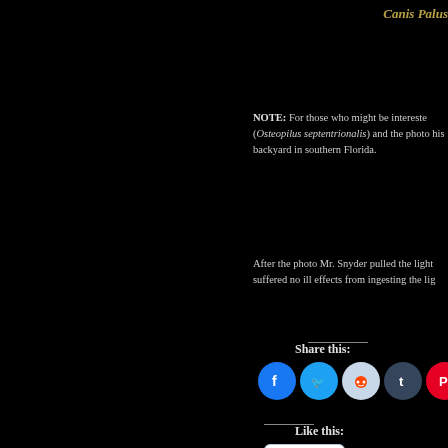Canis Palus
NOTE: For those who might be interested (Osteopilus septentrionalis) and the photo his backyard in southern Florida.
After the photo Mr. Snyder pulled the light suffered no ill effects from ingesting the lig
Share this:
[Figure (infographic): Row of social share icons: Facebook (blue), Twitter (light blue), Reddit (light blue-gray), Tumblr (dark blue), Pinterest (red), Pocket (red), Email (gray)]
Like this:
[Figure (infographic): Like button widget with star icon and 'Like' text, white background with blue border]
Be the first to like this.
Tags: Animals | Babes | Christmas | Frogs | Environm